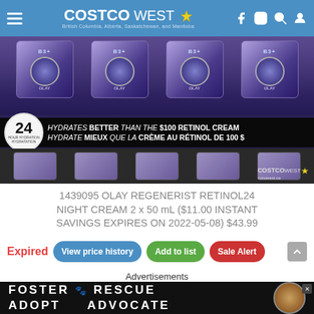Costco West — British Columbia, Alberta, Saskatchewan, and Manitoba
[Figure (photo): Olay Regenerist Retinol24 Night Cream products displayed on a store shelf with a black banner reading: 24 HYDRATES BETTER THAN THE $100 RETINOL CREAM / HYDRATE MIEUX QUE LA CRÈME AU RÉTINOL DE 100 $. Costco West watermark visible.]
1439095 OLAY REGENERIST RETINOL24 NIGHT CREAM 2 x 50 mL ($11.00 INSTANT SAVINGS EXPIRES ON 2022-05-08) $43.99
Expired
View price history
Add to list
Sale Alert
Advertisements
[Figure (photo): Advertisement banner: FALL IN LOVE with a dog image visible, and a second bottom ad with FOSTER / ADOPT and RESCUE / ADVOCATE text with a beagle dog photo.]